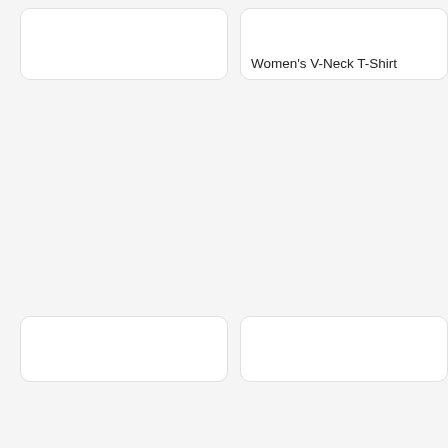[Figure (photo): Partial product card clipped at top, left column]
Women's V-Neck T-Shirt
[Figure (photo): Product image card, left column middle row — From CafePress, Dives Well With Others Women's Dark T-Shirt Women's Value T-Shirt]
[Figure (photo): Product image card, right column middle row — From CafePress, Dives Well With Others Hoodie (dark) Men's Hooded Sweatshirt]
[Figure (photo): Partial product card at bottom left, clipped]
[Figure (photo): Partial product card at bottom right, clipped]